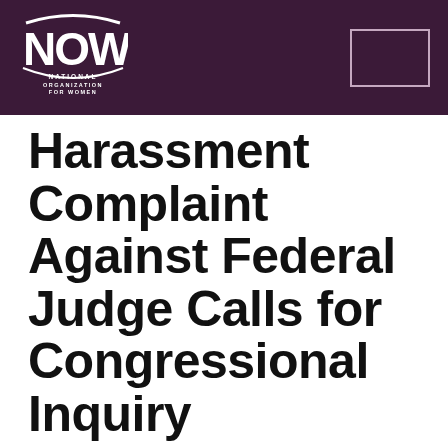[Figure (logo): NOW National Organization for Women logo in white on dark purple background header bar]
Harassment Complaint Against Federal Judge Calls for Congressional Inquiry
Released on November 6, 2007
On October 31, Rep. Sheila Jackson Lee (D-Texas)